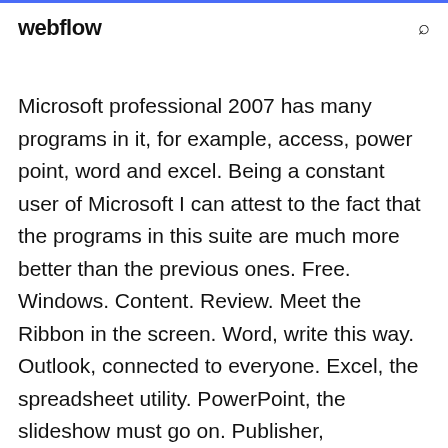webflow
Microsoft professional 2007 has many programs in it, for example, access, power point, word and excel. Being a constant user of Microsoft I can attest to the fact that the programs in this suite are much more better than the previous ones. Free. Windows. Content. Review. Meet the Ribbon in the screen. Word, write this way. Outlook, connected to everyone. Excel, the spreadsheet utility. PowerPoint, the slideshow must go on. Publisher,